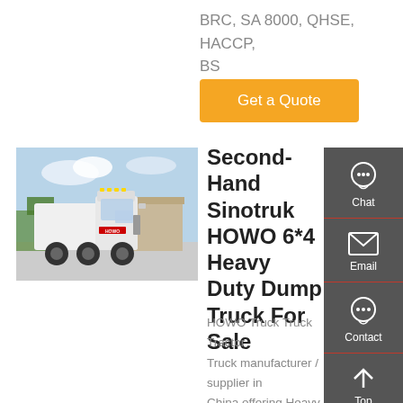BRC, SA 8000, QHSE, HACCP, BS
Get a Quote
[Figure (photo): White Sinotruk HOWO heavy duty dump truck parked in a lot with trees and buildings in background]
Second-Hand Sinotruk HOWO 6*4 Heavy Duty Dump Truck For Sale
HOWO Truck Truck Tractor Truck manufacturer / supplier in China offering Heavy Duty Used Sinotruk HOWO 6X2 6X4 371HP 420HP Tractor Trailer Head Trucks Sino Trucks Used